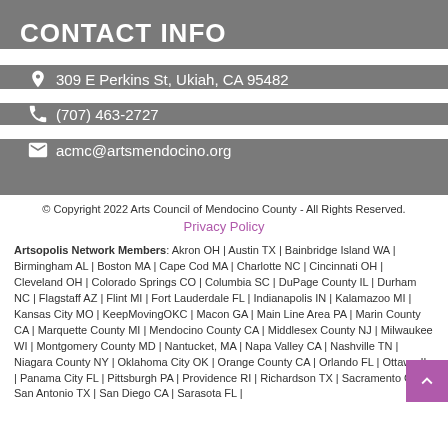CONTACT INFO
309 E Perkins St, Ukiah, CA 95482
(707) 463-2727
acmc@artsmendocino.org
© Copyright 2022 Arts Council of Mendocino County - All Rights Reserved.
Privacy Policy
Artsopolis Network Members: Akron OH | Austin TX | Bainbridge Island WA | Birmingham AL | Boston MA | Cape Cod MA | Charlotte NC | Cincinnati OH | Cleveland OH | Colorado Springs CO | Columbia SC | DuPage County IL | Durham NC | Flagstaff AZ | Flint MI | Fort Lauderdale FL | Indianapolis IN | Kalamazoo MI | Kansas City MO | KeepMovingOKC | Macon GA | Main Line Area PA | Marin County CA | Marquette County MI | Mendocino County CA | Middlesex County NJ | Milwaukee WI | Montgomery County MD | Nantucket, MA | Napa Valley CA | Nashville TN | Niagara County NY | Oklahoma City OK | Orange County CA | Orlando FL | Ottawa IL | Panama City FL | Pittsburgh PA | Providence RI | Richardson TX | Sacramento CA | San Antonio TX | San Diego CA | Sarasota FL |